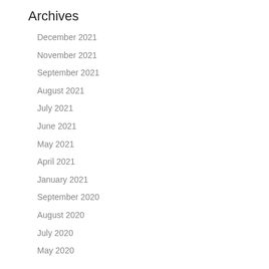Archives
December 2021
November 2021
September 2021
August 2021
July 2021
June 2021
May 2021
April 2021
January 2021
September 2020
August 2020
July 2020
May 2020